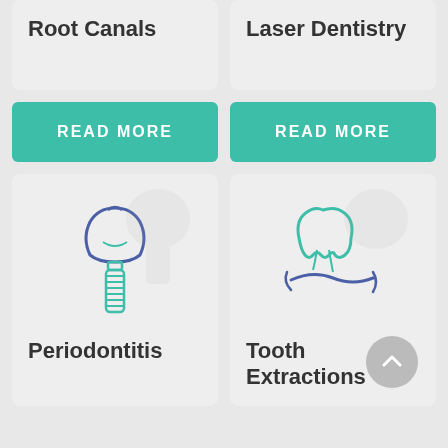Root Canals
Laser Dentistry
READ MORE
READ MORE
[Figure (illustration): Dental implant icon: blue crown tooth on a teal screw implant post]
Periodontitis
[Figure (illustration): Tooth extraction icon: teal tooth being pulled with blue curved lines]
Tooth Extractions